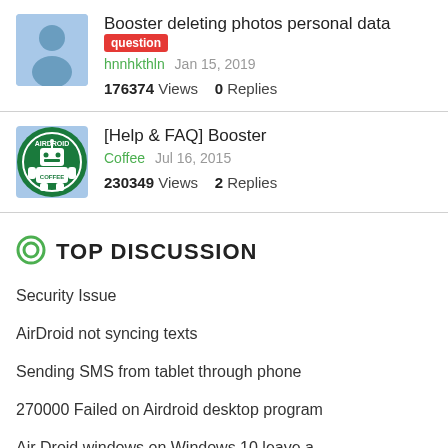[Figure (other): User avatar placeholder - grey silhouette on light blue background]
Booster deleting photos personal data [question tag] hnnhkthln Jan 15, 2019 176374 Views 0 Replies
[Figure (logo): AirDroid Coffee logo - circular green logo with android robot holding coffee]
[Help & FAQ] Booster Coffee Jul 16, 2015 230349 Views 2 Replies
TOP DISCUSSION
Security Issue
AirDroid not syncing texts
Sending SMS from tablet through phone
270000 Failed on Airdroid desktop program
Air Droid windows on Windows 10 leave a ...